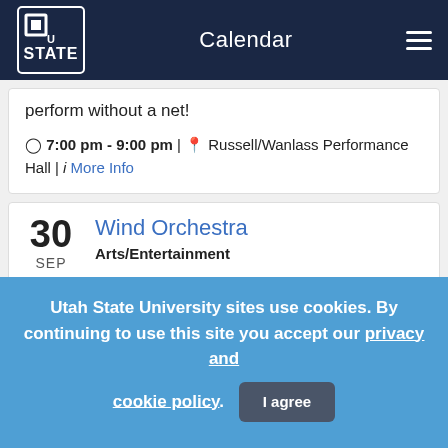Calendar
perform without a net!
7:00 pm - 9:00 pm | Russell/Wanlass Performance Hall | More Info
30 SEP
Wind Orchestra
Arts/Entertainment
Concerts are part of the band large ensemble
Utah State University sites use cookies. By continuing to use this site you accept our privacy and cookie policy. I agree